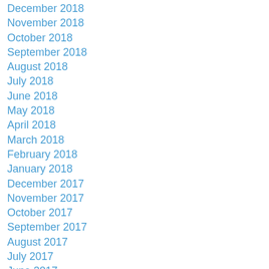December 2018
November 2018
October 2018
September 2018
August 2018
July 2018
June 2018
May 2018
April 2018
March 2018
February 2018
January 2018
December 2017
November 2017
October 2017
September 2017
August 2017
July 2017
June 2017
May 2017
April 2017